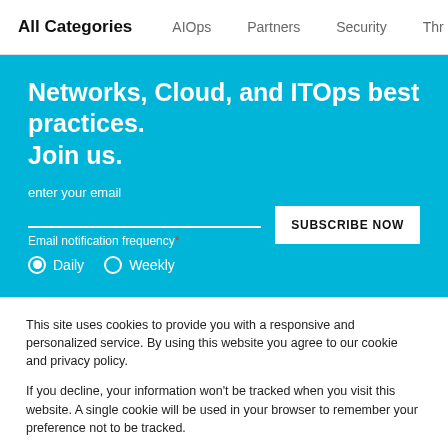All Categories  AIOps  Partners  Security  Thr
Networks, Cloud, and ITOps best practices. Join us.
enter your email
Email notification frequency*
Daily  Weekly
This site uses cookies to provide you with a responsive and personalized service. By using this website you agree to our cookie and privacy policy.
If you decline, your information won't be tracked when you visit this website. A single cookie will be used in your browser to remember your preference not to be tracked.
Accept  Decline